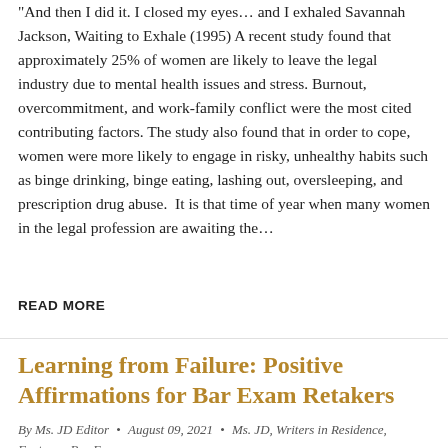"And then I did it. I closed my eyes... and I exhaled Savannah Jackson, Waiting to Exhale (1995) A recent study found that approximately 25% of women are likely to leave the legal industry due to mental health issues and stress. Burnout, overcommitment, and work-family conflict were the most cited contributing factors. The study also found that in order to cope, women were more likely to engage in risky, unhealthy habits such as binge drinking, binge eating, lashing out, oversleeping, and prescription drug abuse.  It is that time of year when many women in the legal profession are awaiting the...
READ MORE
Learning from Failure: Positive Affirmations for Bar Exam Retakers
By Ms. JD Editor • August 09, 2021 • Ms. JD, Writers in Residence, Features, Bar Exam